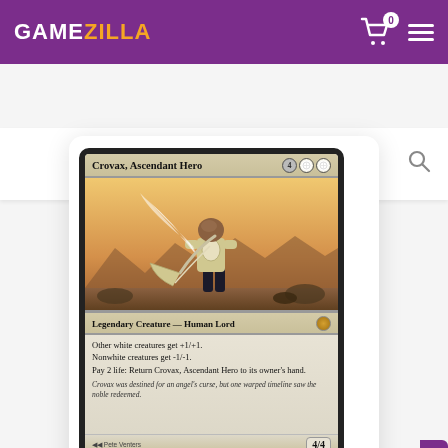GAMEZILLA
Search the Store
[Figure (illustration): Magic: The Gathering card — Crovax, Ascendant Hero. Legendary Creature — Human Lord. 4/4. Other white creatures get +1/+1. Nonwhite creatures get -1/-1. Pay 2 life: Return Crovax, Ascendant Hero to its owner's hand. Flavor text: Crovax was destined for an angel's curse, but one warped timeline saw the noble redeemed. Art by Pete Venters.]
Decklist